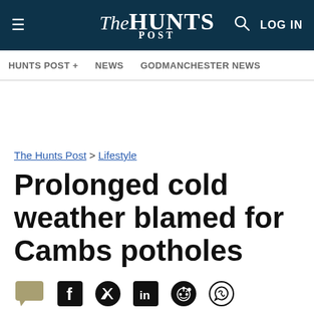The Hunts Post
HUNTS POST + | NEWS | GODMANCHESTER NEWS
The Hunts Post > Lifestyle
Prolonged cold weather blamed for Cambs potholes
Published: 7:01 AM February 3, 2010